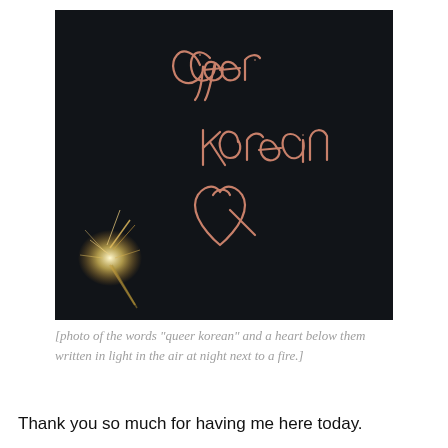[Figure (photo): A dark/black background photo with light-painted cursive text reading 'queer korean' and a heart shape drawn below it in pinkish-orange light. A sparkler or fire source is visible in the lower left corner of the image.]
[photo of the words “queer korean” and a heart below them written in light in the air at night next to a fire.]
Thank you so much for having me here today.